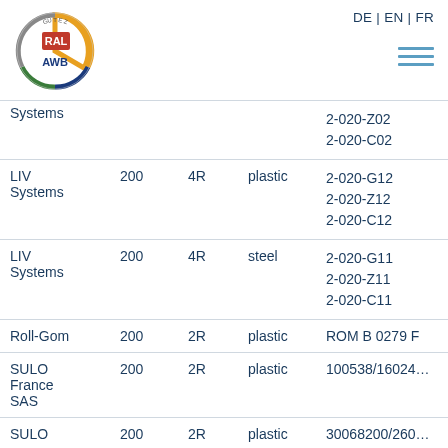DE | EN | FR
[Figure (logo): RAL Gütezeichen AWB circular logo with colored arc segments]
| Manufacturer | Volume | Type | Material | Certificate |
| --- | --- | --- | --- | --- |
| Systems |  |  |  | 2-020-Z02
2-020-C02 |
| LIV Systems | 200 | 4R | plastic | 2-020-G12
2-020-Z12
2-020-C12 |
| LIV Systems | 200 | 4R | steel | 2-020-G11
2-020-Z11
2-020-C11 |
| Roll-Gom | 200 | 2R | plastic | ROM B 0279 F |
| SULO France SAS | 200 | 2R | plastic | 100538/16024… |
| SULO | 200 | 2R | plastic | 30068200/260… |